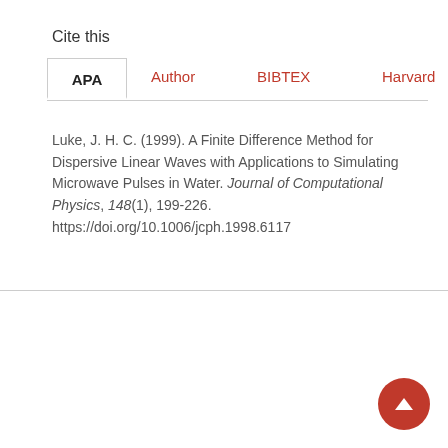Cite this
APA  Author  BIBTEX  Harvard  ...
Luke, J. H. C. (1999). A Finite Difference Method for Dispersive Linear Waves with Applications to Simulating Microwave Pulses in Water. Journal of Computational Physics, 148(1), 199-226. https://doi.org/10.1006/jcph.1998.6117
[Figure (logo): NJIT university logo in red lettering with a curved red swoosh underline]